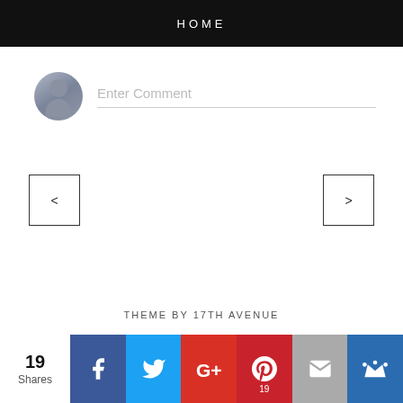HOME
Enter Comment
<
>
THEME BY 17TH AVENUE
19 Shares